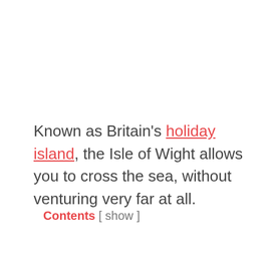Known as Britain's holiday island, the Isle of Wight allows you to cross the sea, without venturing very far at all.
Contents [ show ]